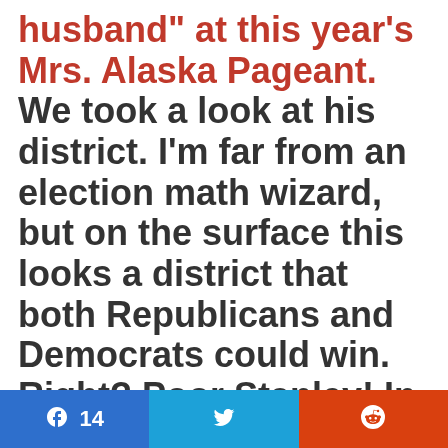husband" at this year's Mrs. Alaska Pageant. We took a look at his district. I'm far from an election math wizard, but on the surface this looks a district that both Republicans and Democrats could win. Right? Poor Stanley! In addition to no one talking
[Figure (other): Social sharing buttons: Facebook (blue, count 14), Twitter (light blue, bird icon), Reddit (orange, alien icon)]